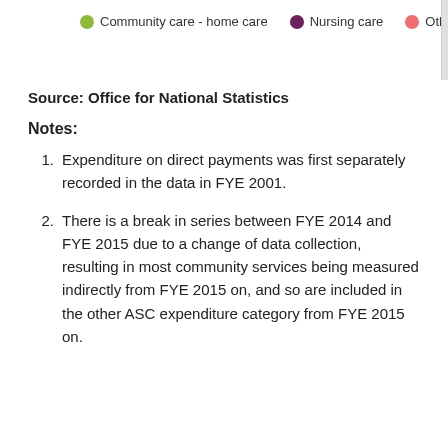[Figure (other): Chart legend showing three items: Community care - home care (olive/yellow-green dot), Nursing care (dark purple dot), Other (salmon/pink dot). Partially visible at top of page.]
Source: Office for National Statistics
Notes:
Expenditure on direct payments was first separately recorded in the data in FYE 2001.
There is a break in series between FYE 2014 and FYE 2015 due to a change of data collection, resulting in most community services being measured indirectly from FYE 2015 on, and so are included in the other ASC expenditure category from FYE 2015 on.